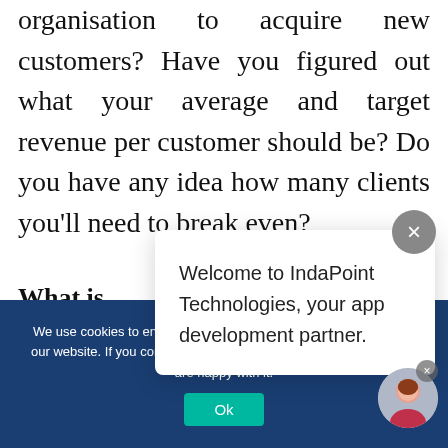organisation to acquire new customers? Have you figured out what your average and target revenue per customer should be? Do you have any idea how many clients you'll need to break even?
What is planning relatio
[Figure (other): Chat popup overlay from IndaPoint Technologies with close X button and avatar, showing welcome message: 'Welcome to IndaPoint Technologies, your app development partner.']
We use cookies to ensure that we give you the best experience on our website. If you continue to use this site we will assume that you are happy with it.